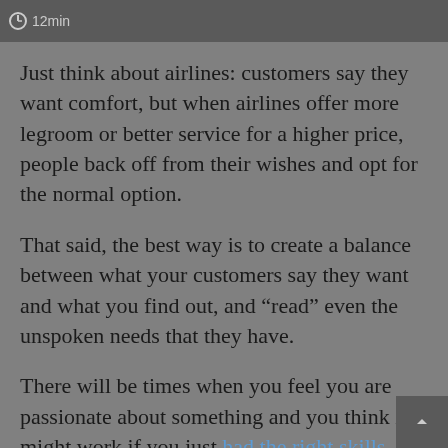[Figure (screenshot): Top image bar with a timer icon showing '12min' on a dark gray background]
Just think about airlines: customers say they want comfort, but when airlines offer more legroom or better service for a higher price, people back off from their wishes and opt for the normal option.
That said, the best way is to create a balance between what your customers say they want and what you find out, and “read” even the unspoken needs that they have.
There will be times when you feel you are passionate about something and you think it might work if you just had the right skills.